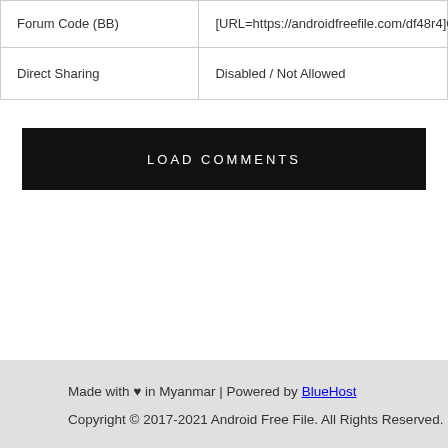| Forum Code (BB) | [URL=https://androidfreefile.com/df48r4]Coolpad_Cool_1_C106_6_ZOXCNFN5801712291S.zip[/URL] |
| Direct Sharing | Disabled / Not Allowed |
LOAD COMMENTS
Made with ♥ in Myanmar | Powered by BlueHost
Copyright © 2017-2021 Android Free File. All Rights Reserved.